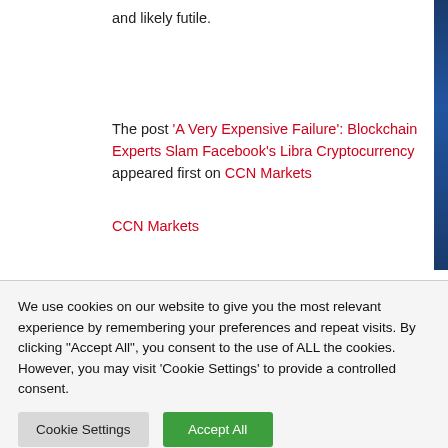and likely futile.
The post 'A Very Expensive Failure': Blockchain Experts Slam Facebook's Libra Cryptocurrency appeared first on CCN Markets
CCN Markets
[Figure (infographic): Sharing is caring! text with social share buttons (Twitter, Facebook, grey, blue, grey, green)]
We use cookies on our website to give you the most relevant experience by remembering your preferences and repeat visits. By clicking "Accept All", you consent to the use of ALL the cookies. However, you may visit 'Cookie Settings' to provide a controlled consent.